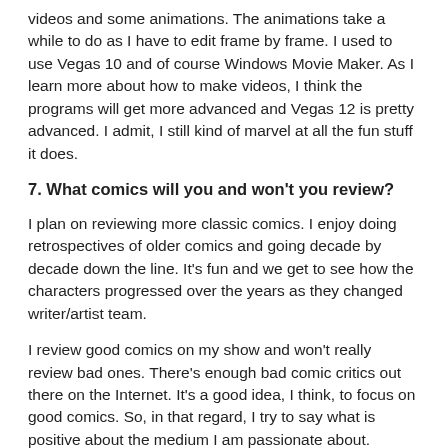videos and some animations. The animations take a while to do as I have to edit frame by frame. I used to use Vegas 10 and of course Windows Movie Maker. As I learn more about how to make videos, I think the programs will get more advanced and Vegas 12 is pretty advanced. I admit, I still kind of marvel at all the fun stuff it does.
7. What comics will you and won't you review?
I plan on reviewing more classic comics. I enjoy doing retrospectives of older comics and going decade by decade down the line. It's fun and we get to see how the characters progressed over the years as they changed writer/artist team.
I review good comics on my show and won't really review bad ones. There's enough bad comic critics out there on the Internet. It's a good idea, I think, to focus on good comics. So, in that regard, I try to say what is positive about the medium I am passionate about.
I typically won't review stuff like One More Day and One